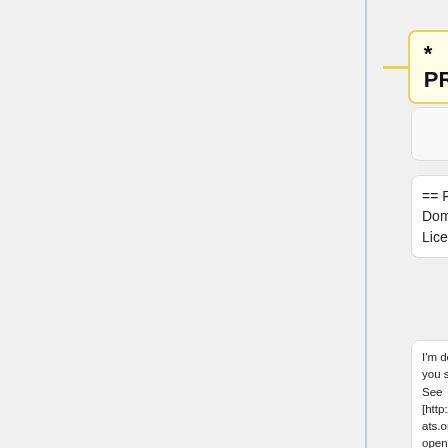* PROFIT.
== Public Domain Licence ==
== Public Domain Licence ==
I'm doing my part - you should too! See [http://microformats.org/blog/2007/12/29/making-open-standards-as-open-as-possible/ Tantek's post on the blog] and make your microformats "free"!
I'm doing my part - you should too! See [http://microformats.org/blog/2007/12/29/making-open-standards-as-open-as-possible/ Tantek's post on the blog] and make your microformats "free"!